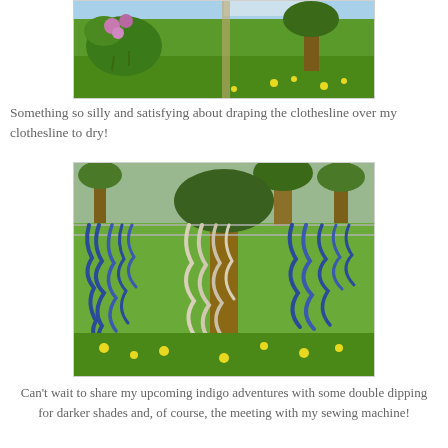[Figure (photo): Outdoor photo showing green grass with lilac flowers and dandelions, partly cropped at top of page]
Something so silly and satisfying about draping the clothesline over my clothesline to dry!
[Figure (photo): Photo of blue and white yarn/rope draped over a clothesline outdoors with trees and dandelions in background]
Can't wait to share my upcoming indigo adventures with some double dipping for darker shades and, of course, the meeting with my sewing machine!